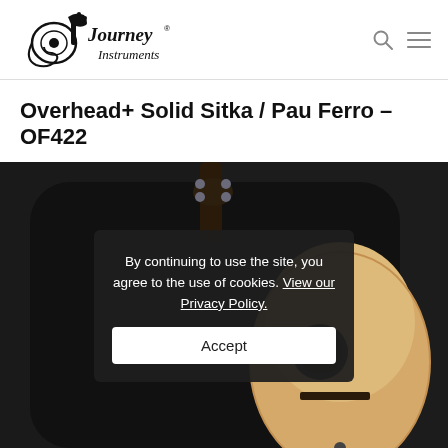[Figure (logo): Journey Instruments logo — stylized guitar headstock and swirl with 'Journey Instruments' text]
Overhead+ Solid Sitka / Pau Ferro – OF422
[Figure (photo): Acoustic guitar partially visible in a black gig bag, showing the headstock and body with natural wood top]
By continuing to use the site, you agree to the use of cookies. View our Privacy Policy.
Accept